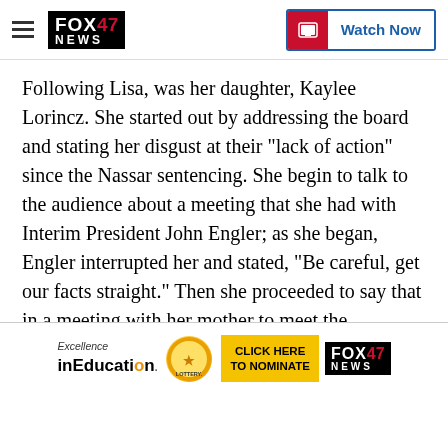FOX 47 NEWS | Watch Now
Following Lisa, was her daughter, Kaylee Lorincz. She started out by addressing the board and stating her disgust at their "lack of action" since the Nassar sentencing. She begin to talk to the audience about a meeting that she had with Interim President John Engler; as she began, Engler interrupted her and stated, "Be careful, get our facts straight." Then she proceeded to say that in a meeting with her mother to meet the President and former governor, he offered her $250,000. She says she told him that it wasn't about the money, in which she alleges he said, "give me a number." Kaylee then said that Engler told her that he had th[e...]nder [and the] Engler then said in response Kaylee Mo[...]
[Figure (screenshot): Advertisement banner: Excellence in Education with lottery logo, CLICK HERE TO NOMINATE button, and FOX 47 NEWS logo]